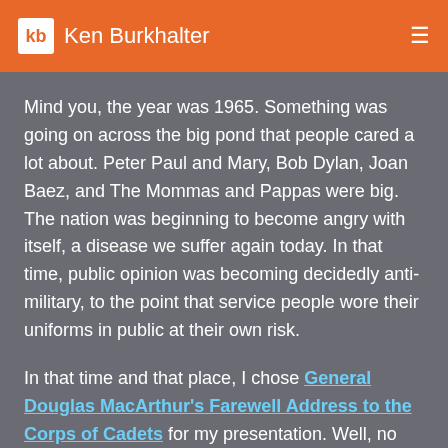kb Ken Burkhalter
Mind you, the year was 1965. Something was going on across the big pond that people cared a lot about. Peter Paul and Mary, Bob Dylan, Joan Baez, and The Mommas and Pappas were big. The nation was beginning to become angry with itself, a disease we suffer again today. In that time, public opinion was becoming decidedly anti-military, to the point that service people wore their uniforms in public at their own risk.
In that time and that place, I chose General Douglas MacArthur's Farewell Address to the Corps of Cadets for my presentation. Well, no one ever said I was politically correct. On this holiday the speech rings especially true. I've thought of it often, but this is the first time I've ever actually revisited it. I am glad I did.